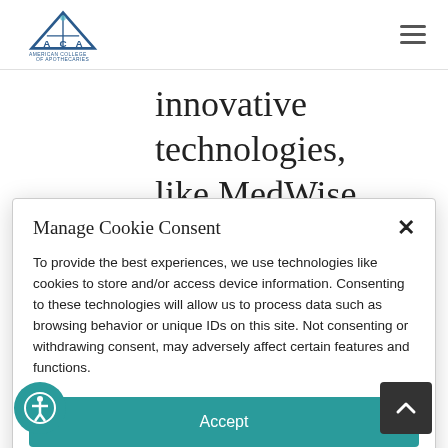[Figure (logo): American College of Apothecaries (ACA) logo — triangular ACA letterform above small text 'AMERICAN COLLEGE OF APOTHECARIES' in blue/teal]
innovative technologies, like MedWise, that will help
Manage Cookie Consent
To provide the best experiences, we use technologies like cookies to store and/or access device information. Consenting to these technologies will allow us to process data such as browsing behavior or unique IDs on this site. Not consenting or withdrawing consent, may adversely affect certain features and functions.
Accept
Opt-out preferences   Privacy Statement